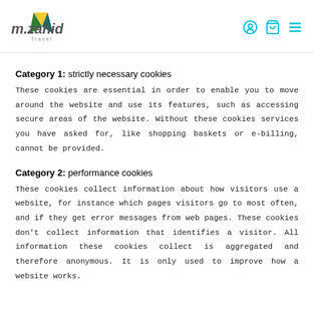[Figure (logo): m.zahid Travel logo with green and yellow triangle/arrow icon]
Category 1: strictly necessary cookies
These cookies are essential in order to enable you to move around the website and use its features, such as accessing secure areas of the website. Without these cookies services you have asked for, like shopping baskets or e-billing, cannot be provided.
Category 2: performance cookies
These cookies collect information about how visitors use a website, for instance which pages visitors go to most often, and if they get error messages from web pages. These cookies don't collect information that identifies a visitor. All information these cookies collect is aggregated and therefore anonymous. It is only used to improve how a website works.